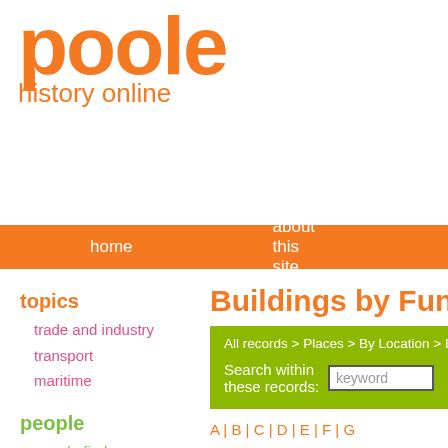poole history online
home   about this site   news
topics
trade and industry
transport
maritime
people
people finder
society
places
by location
by subject
events
by date
by type
Buildings by Funct
All records > Places > By Location > B
Search within these records: keyword
A | B | C | D | E | F | G
Showing results 1 to 10 of 1350
1  2  3
Beehive Inn, Lillip
Museum Ref No: VM_XLIV1